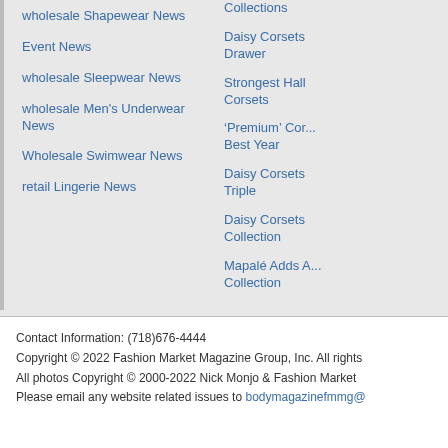wholesale Shapewear News
Event News
wholesale Sleepwear News
wholesale Men's Underwear News
Wholesale Swimwear News
retail Lingerie News
Collections
Daisy Corsets Drawer
Strongest Hall Corsets
'Premium' Cor... Best Year
Daisy Corsets Triple
Daisy Corsets Collection
Mapalé Adds A... Collection
Contact Information: (718)676-4444
Copyright © 2022 Fashion Market Magazine Group, Inc. All rights
All photos Copyright © 2000-2022 Nick Monjo & Fashion Market
Please email any website related issues to bodymagazinefmmg@...